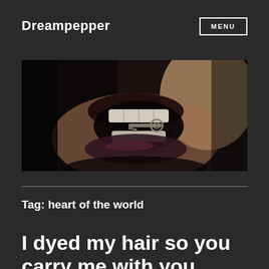Dreampepper
[Figure (photo): Close-up photo of a person's open mouth holding a small key between their teeth, dark moody tones]
Tag: heart of the world
I dyed my hair so you carry me with you when